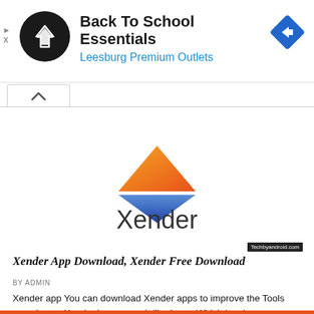[Figure (infographic): Advertisement banner showing a black circular logo with arrow icon, text 'Back To School Essentials' and 'Leesburg Premium Outlets' in blue, and a blue diamond navigation icon on the right]
[Figure (logo): Xender app logo: hourglass shape made of orange/yellow upper triangle and blue lower triangle forming an X shape, with 'Xender' text below in dark gray]
Techbyandroid.com
Xender App Download, Xender Free Download
BY ADMIN
Xender app You can download Xender apps to improve the Tools experience. Xender is very much liked app. Which has been downloaded by many people....